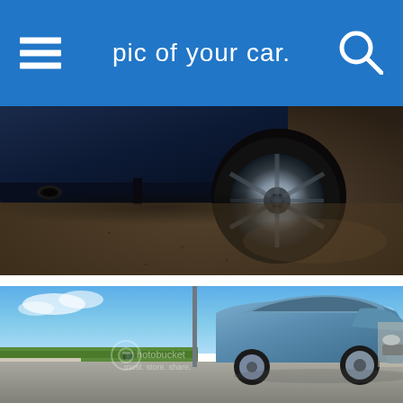pic of your car.
[Figure (photo): Low angle close-up photo of a dark blue car's side, showing wheel, rocker panel, and exhaust tip on a concrete surface.]
[Figure (photo): Blue sedan (Subaru) parked outdoors in sunlight with blue sky and green fields in background. Photobucket watermark visible.]